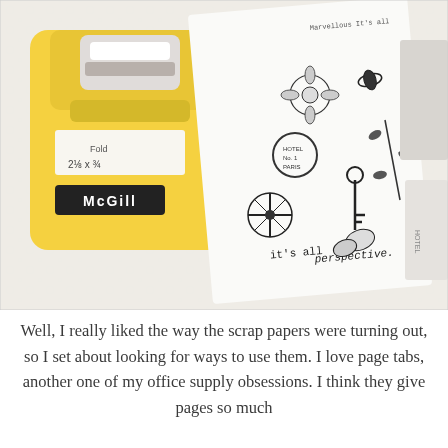[Figure (photo): A photograph showing a yellow McGill paper punch tool alongside a white sheet of paper covered in black vintage-style stamp illustrations including insects, flowers, compass, keys, and text reading 'it's all perspective'. The punch is labeled '2 1/8 x 3/4'. The items are resting on a white lace surface.]
Well, I really liked the way the scrap papers were turning out, so I set about looking for ways to use them. I love page tabs, another one of my office supply obsessions. I think they give pages so much